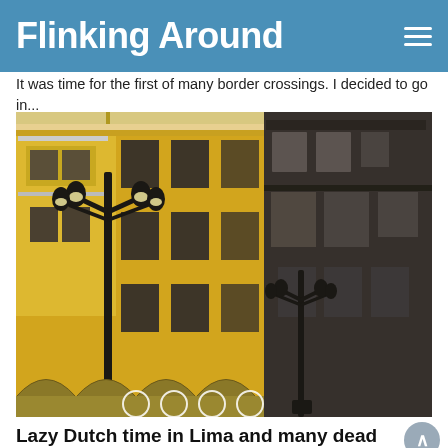Flinking Around
It was time for the first of many border crossings. I decided to go in...
[Figure (photo): Photo of a yellow colonial building facade with ornate dark stone architecture on the right and black decorative street lampposts in the foreground, Lima, Peru]
Lazy Dutch time in Lima and many dead van parts
Lima time! Even before my trip stared Egbert told me to check with